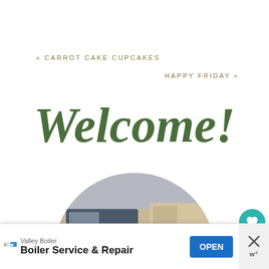« CARROT CAKE CUPCAKES
HAPPY FRIDAY »
Welcome!
[Figure (photo): Circular portrait photo of a smiling blonde woman sitting outdoors at what appears to be an autumn farm setting with hay bales and orange flowers/pumpkins in the background]
1
Valley Boiler
Boiler Service & Repair
OPEN